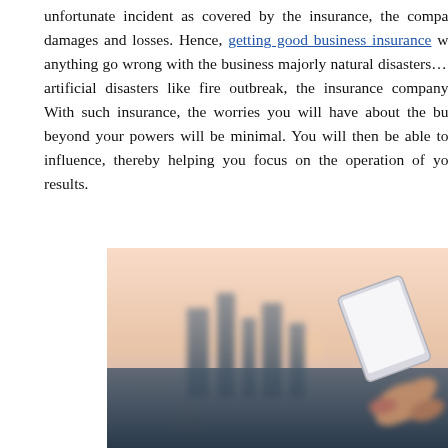unfortunate incident as covered by the insurance, the company covers damages and losses. Hence, getting good business insurance will help if anything go wrong with the business majorly natural disasters as well as artificial disasters like fire outbreak, the insurance company will cover. With such insurance, the worries you will have about the business beyond your powers will be minimal. You will then be able to reduce the influence, thereby helping you focus on the operation of your business results.
[Figure (photo): A person holding a tablet device against a blurred cityscape background with bokeh lights at dusk, warm peach and blue tones.]